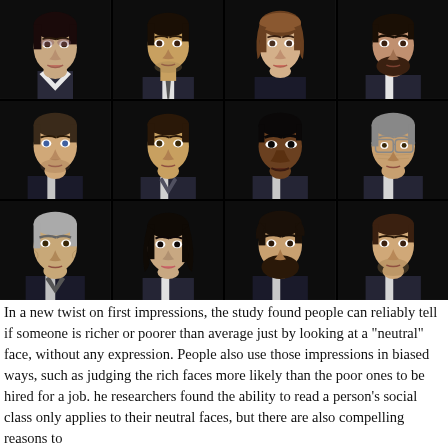[Figure (photo): A 4x3 grid of professional headshot photos showing 12 diverse individuals (men and women of various ages and ethnicities) with neutral expressions against dark backgrounds, dressed in business attire.]
In a new twist on first impressions, the study found people can reliably tell if someone is richer or poorer than average just by looking at a "neutral" face, without any expression. People also use those impressions in biased ways, such as judging the rich faces more likely than the poor ones to be hired for a job. he researchers found the ability to read a person's social class only applies to their neutral faces, but there are also compelling reasons to...